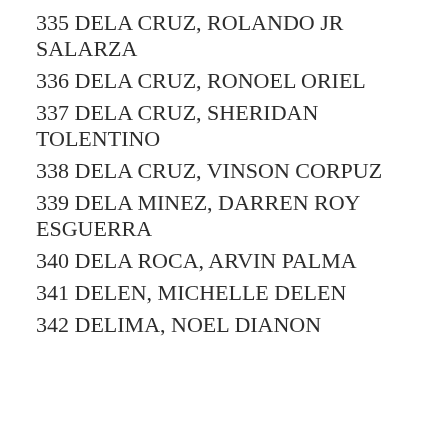335 DELA CRUZ, ROLANDO JR SALARZA
336 DELA CRUZ, RONOEL ORIEL
337 DELA CRUZ, SHERIDAN TOLENTINO
338 DELA CRUZ, VINSON CORPUZ
339 DELA MINEZ, DARREN ROY ESGUERRA
340 DELA ROCA, ARVIN PALMA
341 DELEN, MICHELLE DELEN
342 DELIMA, NOEL DIANON